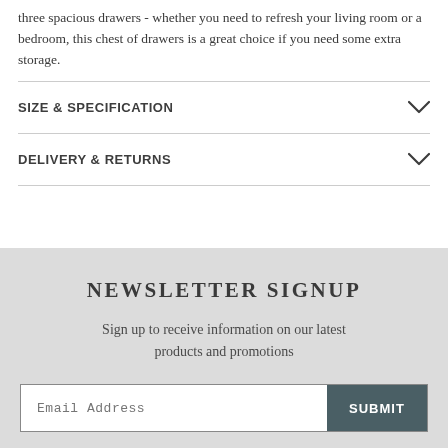three spacious drawers - whether you need to refresh your living room or a bedroom, this chest of drawers is a great choice if you need some extra storage.
SIZE & SPECIFICATION
DELIVERY & RETURNS
NEWSLETTER SIGNUP
Sign up to receive information on our latest products and promotions
Email Address  SUBMIT